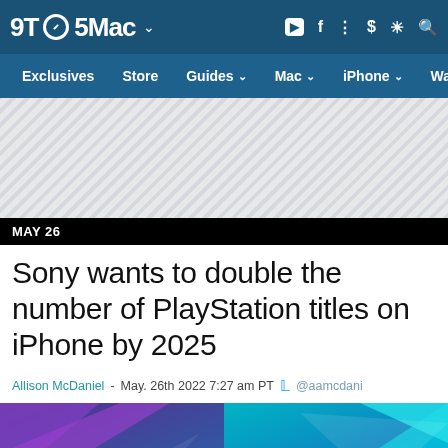9TO5Mac
Exclusives  Store  Guides  Mac  iPhone  Wa
[Figure (other): Advertisement banner area with diagonal hatching pattern]
MAY 26
Sony wants to double the number of PlayStation titles on iPhone by 2025
Allison McDaniel  - May. 26th 2022 7:27 am PT  @aamcdani
[Figure (photo): Colorful hero image with purple, teal and blue geometric shapes with a smartphone visible at bottom center]